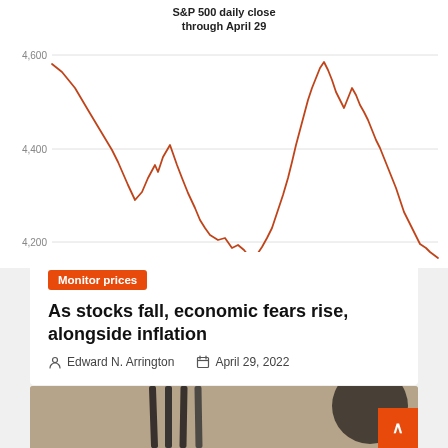[Figure (continuous-plot): Line chart showing S&P 500 daily close values through April 29. The line starts near 4,600 at the top left, declines steeply to around 4,320, bounces with peaks near 4,520 and 4,490, falls to lows around 4,180, recovers to near 4,620, then declines again to end near 4,130.]
S&P 500 daily close through April 29
Monitor prices
As stocks fall, economic fears rise, alongside inflation
Edward N. Arrington   April 29, 2022
[Figure (photo): Partial photo at bottom of page showing dark linear objects (possibly chopsticks or metal rods) against a blurred background]